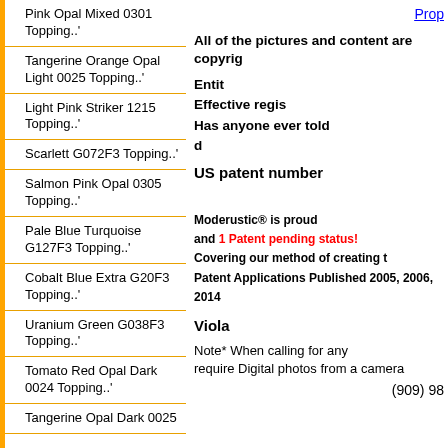Pink Opal Mixed 0301 Topping..'
Tangerine Orange Opal Light 0025 Topping..'
Light Pink Striker 1215 Topping..'
Scarlett G072F3 Topping..'
Salmon Pink Opal 0305 Topping..'
Pale Blue Turquoise G127F3 Topping..'
Cobalt Blue Extra G20F3 Topping..'
Uranium Green G038F3 Topping..'
Tomato Red Opal Dark 0024 Topping..'
Tangerine Opal Dark 0025 Topping..'
Prop
All of the pictures and content are copyrig
Entit Effective regis Has anyone ever told d
US patent number
Moderustic® is proud and 1 Patent pending status! Covering our method of creating t Patent Applications Published 2005, 2006, 2014
Viola
Note* When calling for any require Digital photos from a camera
(909) 98